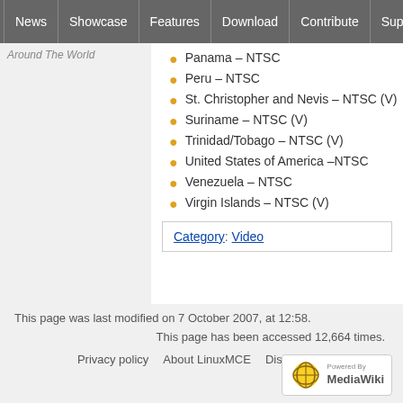News | Showcase | Features | Download | Contribute | Support
Around The World
Panama – NTSC
Peru – NTSC
St. Christopher and Nevis – NTSC (V)
Suriname – NTSC (V)
Trinidad/Tobago – NTSC (V)
United States of America –NTSC
Venezuela – NTSC
Virgin Islands – NTSC (V)
Category:  Video
This page was last modified on 7 October 2007, at 12:58.
This page has been accessed 12,664 times.
Privacy policy   About LinuxMCE   Disclaimers